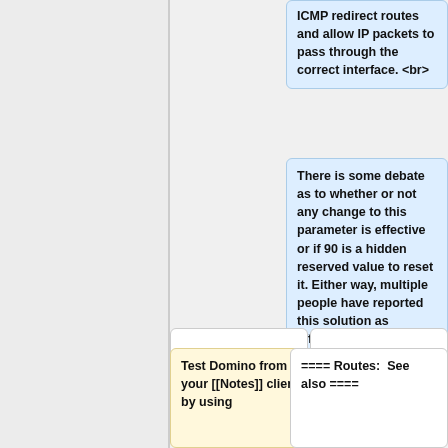ICMP redirect routes and allow IP packets to pass through the correct interface. <br>
There is some debate as to whether or not any change to this parameter is effective or if 90 is a hidden reserved value to reset it. Either way, multiple people have reported this solution as effective.
Test Domino from your [[Notes]] client by using
==== Routes:  See also ====